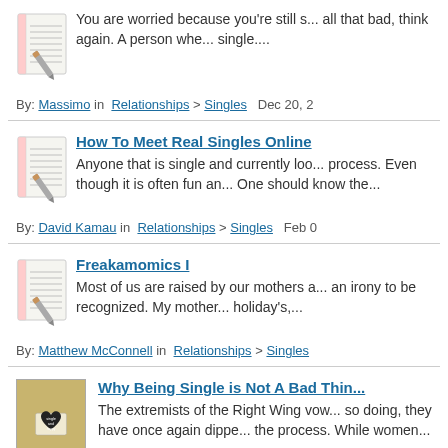You are worried because you're still s... all that bad, think again. A person whe... single....
By: Massimo in Relationships > Singles  Dec 20, 2
How To Meet Real Singles Online
Anyone that is single and currently loo... process. Even though it is often fun an... One should know the...
By: David Kamau in Relationships > Singles  Feb 0
Freakamomics I
Most of us are raised by our mothers a... an irony to be recognized. My mother... holiday's,...
By: Matthew McConnell in Relationships > Singles
Why Being Single is Not A Bad Thin...
The extremists of the Right Wing vow... so doing, they have once again dippe... the process. While women...